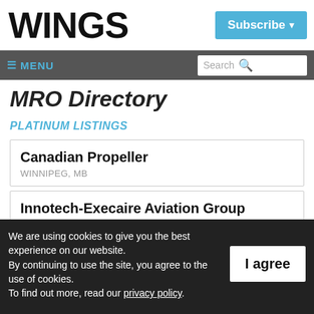WINGS
Subscribe
≡ MENU  Search
MRO Directory
PLATINUM LISTINGS
Canadian Propeller
WINNIPEG, MB
Innotech-Execaire Aviation Group
Dorval, QC
We are using cookies to give you the best experience on our website.
By continuing to use the site, you agree to the use of cookies.
To find out more, read our privacy policy.